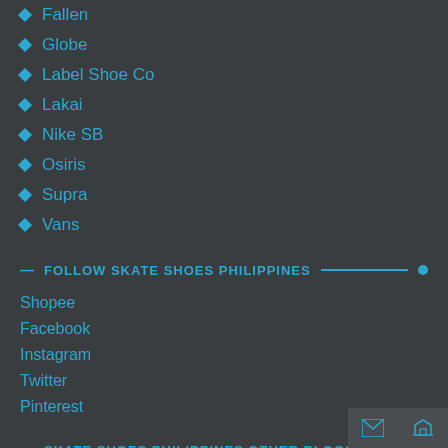Fallen
Globe
Label Shoe Co
Lakai
Nike SB
Osiris
Supra
Vans
FOLLOW SKATE SHOES PHILIPPINES
Shopee
Facebook
Instagram
Twitter
Pinterest
SKATE SHOES PHILIPPINES OTHER BLOGS
ASO Hacker
Games Gadgets & Gizmos